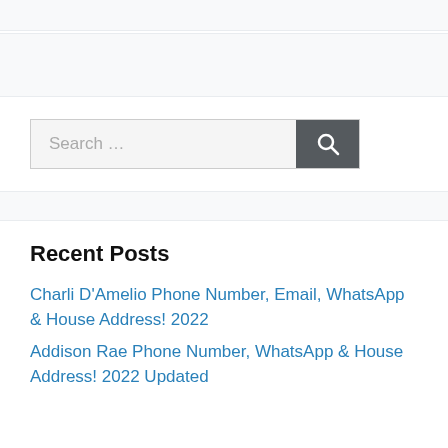[Figure (screenshot): Navigation bar area, light gray background]
[Figure (screenshot): Search bar with placeholder text 'Search ...' and dark gray search button with magnifying glass icon]
Recent Posts
Charli D’Amelio Phone Number, Email, WhatsApp & House Address! 2022
Addison Rae Phone Number, WhatsApp & House Address! 2022 Updated